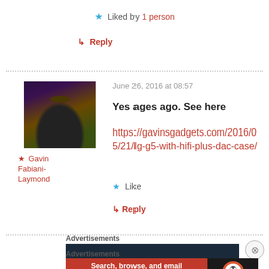★ Liked by 1 person
↳ Reply
June 26, 2016 at 08:57
Yes ages ago. See here https://gavinsgadgets.com/2016/05/21/lg-g5-with-hifi-plus-dac-case/
[Figure (photo): Avatar photo of user Gavin Fabiani-Laymond showing a person with a hat in a field]
★ Gavin Fabiani-Laymond
★ Like
↳ Reply
Advertisements
Advertisements
[Figure (screenshot): DuckDuckGo advertisement: Search, browse, and email with more privacy. All in One Free App]